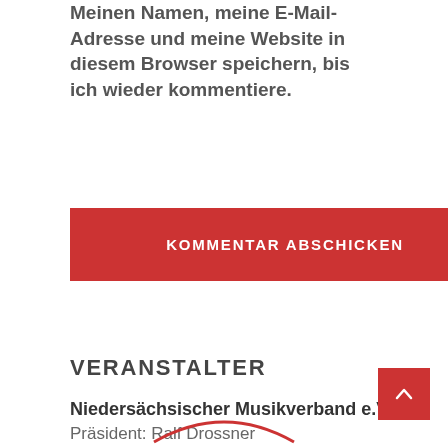Meinen Namen, meine E-Mail-Adresse und meine Website in diesem Browser speichern, bis ich wieder kommentiere.
KOMMENTAR ABSCHICKEN
VERANSTALTER
Niedersächsischer Musikverband e.V.
Präsident: Ralf Drossner
Landesgeschäftsführerin: Gabriele Klumpe